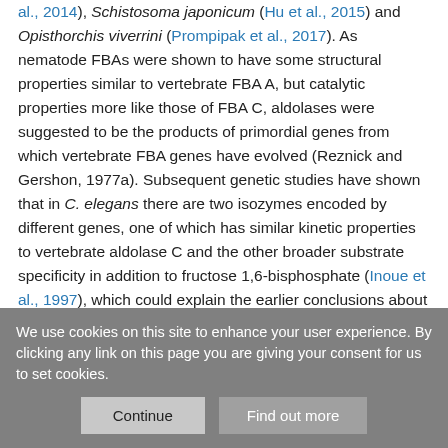al., 2014), Schistosoma japonicum (Hu et al., 2015) and Opisthorchis viverrini (Prompipak et al., 2017). As nematode FBAs were shown to have some structural properties similar to vertebrate FBA A, but catalytic properties more like those of FBA C, aldolases were suggested to be the products of primordial genes from which vertebrate FBA genes have evolved (Reznick and Gershon, 1977a). Subsequent genetic studies have shown that in C. elegans there are two isozymes encoded by different genes, one of which has similar kinetic properties to vertebrate aldolase C and the other broader substrate specificity in addition to fructose 1,6-bisphosphate (Inoue et al., 1997), which could explain the earlier conclusions about nematode aldolases being evolved by duplication and diversification.
We use cookies on this site to enhance your user experience. By clicking any link on this page you are giving your consent for us to set cookies.